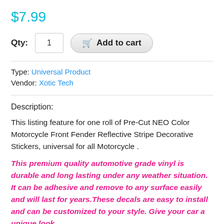$7.99
Qty: 1  Add to cart
Type: Universal Product
Vendor: Xotic Tech
Description:
This listing feature for one roll of Pre-Cut NEO Color Motorcycle Front Fender Reflective Stripe Decorative Stickers, universal for all Motorcycle .
This premium quality automotive grade vinyl is durable and long lasting under any weather situation. It can be adhesive and remove to any surface easily and will last for years.These decals are easy to install and can be customized to your style. Give your car a unique look.
This customize vinyl will give your Motorcycle a more online look with